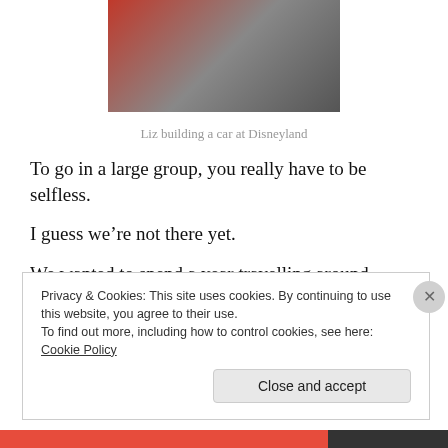[Figure (photo): Photo of Liz building a red car at Disneyland]
Liz building a car at Disneyland
To go in a large group, you really have to be selfless.
I guess we’re not there yet.
We wanted to spend a year travelling around Australia just for the heck of it. Our youngest daughter gets car sick and she was prepared to divorce us for even considering it.
Privacy & Cookies: This site uses cookies. By continuing to use this website, you agree to their use.
To find out more, including how to control cookies, see here: Cookie Policy